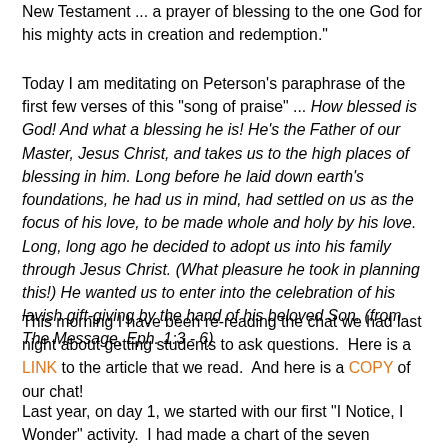New Testament ... a prayer of blessing to the one God for his mighty acts in creation and redemption."
Today I am meditating on Peterson's paraphrase of the first few verses of this "song of praise" ... How blessed is God! And what a blessing he is! He's the Father of our Master, Jesus Christ, and takes us to the high places of blessing in him. Long before he laid down earth's foundations, he had us in mind, had settled on us as the focus of his love, to be made whole and holy by his love. Long, long ago he decided to adopt us into his family through Jesus Christ. (What pleasure he took in planning this!) He wanted us to enter into the celebration of his lavish gift-giving by the hand of his beloved Son. (from The Message, Eph. 1:3 - 6)
This morning I have been re-reading the chat we had last night about getting students to ask questions.  Here is a LINK to the article that we read.  And here is a COPY of our chat!
Last year, on day 1, we started with our first "I Notice, I Wonder" activity.  I had made a chart of the seven functions